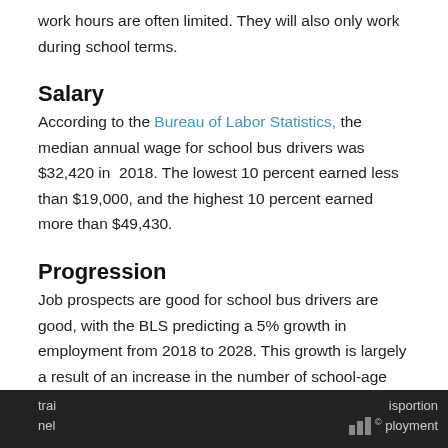work hours are often limited. They will also only work during school terms.
Salary
According to the Bureau of Labor Statistics, the median annual wage for school bus drivers was $32,420 in 2018. The lowest 10 percent earned less than $19,000, and the highest 10 percent earned more than $49,430.
Progression
Job prospects are good for school bus drivers are good, with the BLS predicting a 5% growth in employment from 2018 to 2028. This growth is largely a result of an increase in the number of school-age children. However, growth will most likely occur for contracting services that provide school bus
trai  ispor ation
nel  ployment